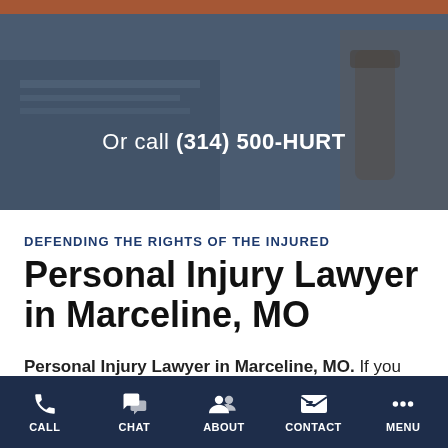[Figure (screenshot): Hero banner with orange top bar, dark blue-gray background suggesting a legal office with gavel and book, showing phone call text]
Or call (314) 500-HURT
DEFENDING THE RIGHTS OF THE INJURED
Personal Injury Lawyer in Marceline, MO
Personal Injury Lawyer in Marceline, MO. If you sustained an injury because someone else acted carelessly and broke the rules, call Burger Law's
CALL  CHAT  ABOUT  CONTACT  MENU